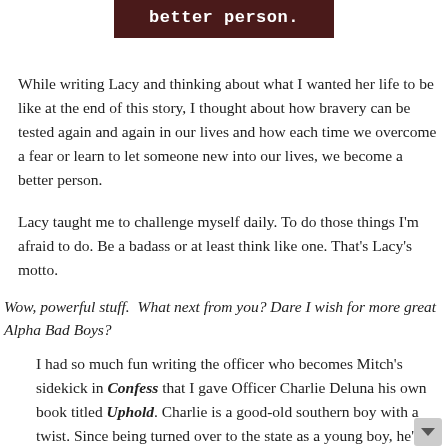[Figure (other): Dark red/maroon banner with white bold text reading 'better person.']
While writing Lacy and thinking about what I wanted her life to be like at the end of this story, I thought about how bravery can be tested again and again in our lives and how each time we overcome a fear or learn to let someone new into our lives, we become a better person.
Lacy taught me to challenge myself daily. To do those things I'm afraid to do. Be a badass or at least think like one. That's Lacy's motto.
Wow, powerful stuff.  What next from you? Dare I wish for more great Alpha Bad Boys?
I had so much fun writing the officer who becomes Mitch's sidekick in Confess that I gave Officer Charlie Deluna his own book titled Uphold. Charlie is a good-old southern boy with a twist. Since being turned over to the state as a young boy, he's wanted nothing more than to be included into a family. That need to belong is the driving force...